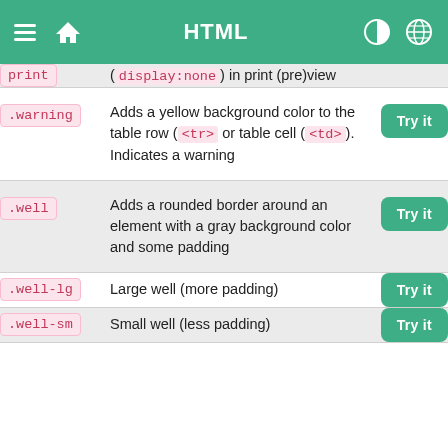HTML
| Class | Description |  |
| --- | --- | --- |
| print | (display:none) in print (pre)view | Try it |
| .warning | Adds a yellow background color to the table row (<tr> or table cell (<td>). Indicates a warning | Try it |
| .well | Adds a rounded border around an element with a gray background color and some padding | Try it |
| .well-lg | Large well (more padding) | Try it |
| .well-sm | Small well (less padding) | Try it |